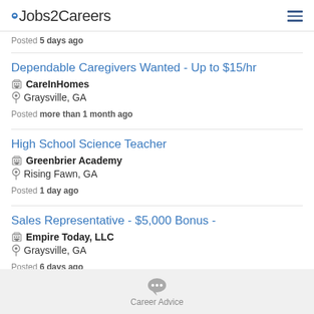Jobs2Careers
Posted 5 days ago
Dependable Caregivers Wanted - Up to $15/hr
CareInHomes
Graysville, GA
Posted more than 1 month ago
High School Science Teacher
Greenbrier Academy
Rising Fawn, GA
Posted 1 day ago
Sales Representative - $5,000 Bonus -
Empire Today, LLC
Graysville, GA
Posted 6 days ago
Career Advice